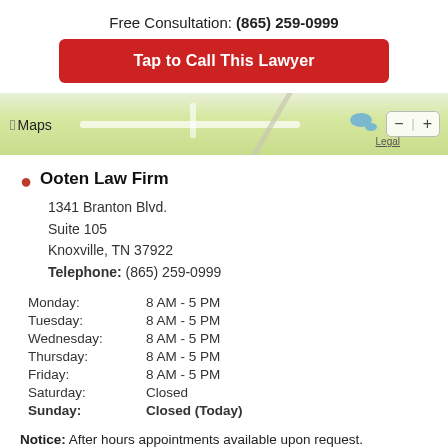Free Consultation: (865) 259-0999
Tap to Call This Lawyer
[Figure (map): Apple Maps screenshot showing green terrain with roads near Ooten Law Firm location. Shows Apple Maps branding, Legal link, and zoom controls.]
Ooten Law Firm
1341 Branton Blvd.
Suite 105
Knoxville, TN 37922
Telephone: (865) 259-0999
| Day | Hours |
| --- | --- |
| Monday: | 8 AM - 5 PM |
| Tuesday: | 8 AM - 5 PM |
| Wednesday: | 8 AM - 5 PM |
| Thursday: | 8 AM - 5 PM |
| Friday: | 8 AM - 5 PM |
| Saturday: | Closed |
| Sunday: | Closed (Today) |
Notice: After hours appointments available upon request.